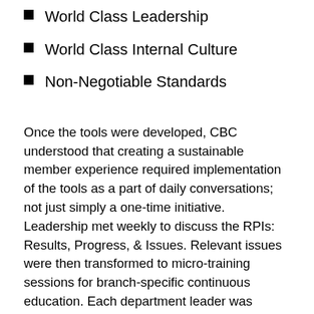World Class Leadership
World Class Internal Culture
Non-Negotiable Standards
Once the tools were developed, CBC understood that creating a sustainable member experience required implementation of the tools as a part of daily conversations; not just simply a one-time initiative. Leadership met weekly to discuss the RPIs: Results, Progress, & Issues. Relevant issues were then transformed to micro-training sessions for branch-specific continuous education. Each department leader was responsible for reinforcing the Member Experience improvements and implementing micro-training sessions.
THE RESULT